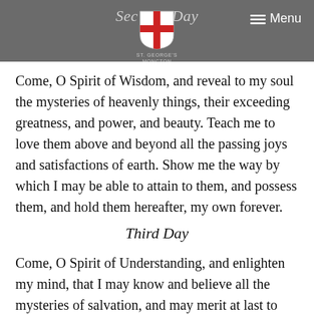Second Day — Menu (St. George's Moncton logo)
Come, O Spirit of Wisdom, and reveal to my soul the mysteries of heavenly things, their exceeding greatness, and power, and beauty. Teach me to love them above and beyond all the passing joys and satisfactions of earth. Show me the way by which I may be able to attain to them, and possess them, and hold them hereafter, my own forever.
Third Day
Come, O Spirit of Understanding, and enlighten my mind, that I may know and believe all the mysteries of salvation, and may merit at last to see the eternal light in thy light; and in the light of glory to have the clear vision of thee and the Father and the Son.